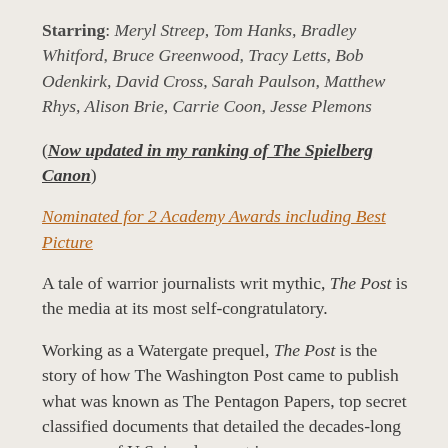Starring: Meryl Streep, Tom Hanks, Bradley Whitford, Bruce Greenwood, Tracy Letts, Bob Odenkirk, David Cross, Sarah Paulson, Matthew Rhys, Alison Brie, Carrie Coon, Jesse Plemons
(Now updated in my ranking of The Spielberg Canon)
Nominated for 2 Academy Awards including Best Picture
A tale of warrior journalists writ mythic, The Post is the media at its most self-congratulatory.
Working as a Watergate prequel, The Post is the story of how The Washington Post came to publish what was known as The Pentagon Papers, top secret classified documents that detailed the decades-long cover-up of U.S. involvement in